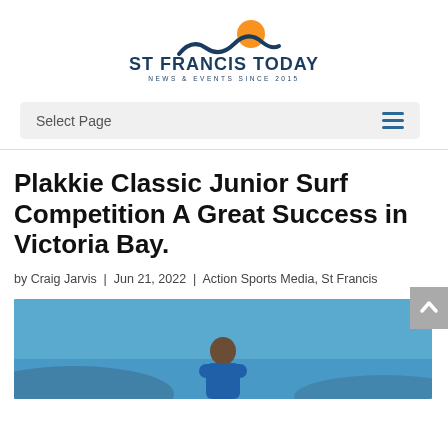ST FRANCIS TODAY — NEWS & EVENTS SINCE 2015
Select Page
Plakkie Classic Junior Surf Competition A Great Success in Victoria Bay.
by Craig Jarvis | Jun 21, 2022 | Action Sports Media, St Francis
[Figure (photo): Photo of a surfer viewed from behind, wearing a blue vest, against a clear blue sky]